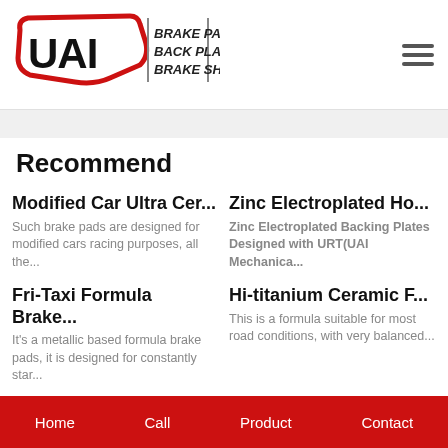UAI | BRAKE PADS BACK PLATES BRAKE SHIMS
Recommend
Modified Car Ultra Cer...
Such brake pads are designed for modified cars racing purposes, all the...
Zinc Electroplated Ho...
Zinc Electroplated Backing Plates Designed with URT(UAI Mechanica...
Fri-Taxi Formula Brake...
It's a metallic based formula brake pads, it is designed for constantly star...
Hi-titanium Ceramic F...
This is a formula suitable for most road conditions, with very balanced...
Home   Call   Product   Contact